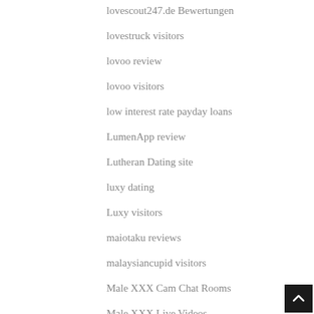lovescout247.de Bewertungen
lovestruck visitors
lovoo review
lovoo visitors
low interest rate payday loans
LumenApp review
Lutheran Dating site
luxy dating
Luxy visitors
maiotaku reviews
malaysiancupid visitors
Male XXX Cam Chat Rooms
Male XXX Live Videos